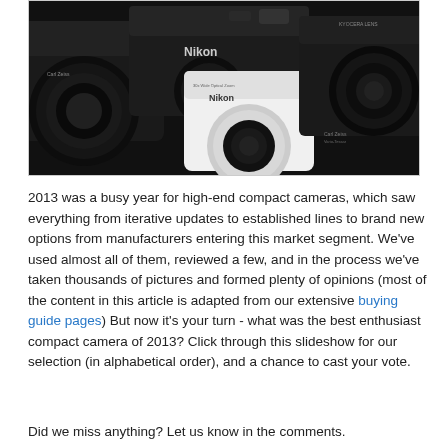[Figure (photo): A collection of high-end compact cameras including Nikon and Sony branded cameras, arranged together showing various black and one white camera body with large lenses against a dark background.]
2013 was a busy year for high-end compact cameras, which saw everything from iterative updates to established lines to brand new options from manufacturers entering this market segment. We've used almost all of them, reviewed a few, and in the process we've taken thousands of pictures and formed plenty of opinions (most of the content in this article is adapted from our extensive buying guide pages) But now it's your turn - what was the best enthusiast compact camera of 2013? Click through this slideshow for our selection (in alphabetical order), and a chance to cast your vote.
Did we miss anything? Let us know in the comments.